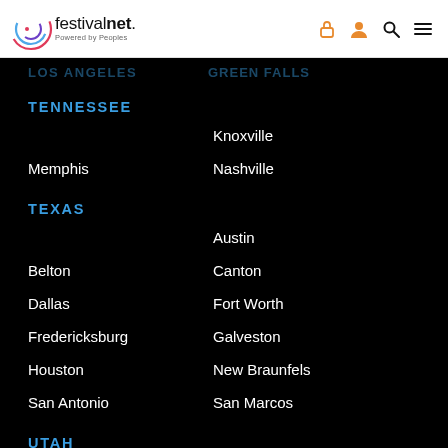[Figure (logo): FestivalNet logo with circular colorful arc graphic and text 'festivalnet. Powered by Peoples']
festivalnet. Powered by Peoples — nav icons: lock, user, search, menu
TENNESSEE
Knoxville
Memphis
Nashville
TEXAS
Austin
Belton
Canton
Dallas
Fort Worth
Fredericksburg
Galveston
Houston
New Braunfels
San Antonio
San Marcos
UTAH
Salt Lake City